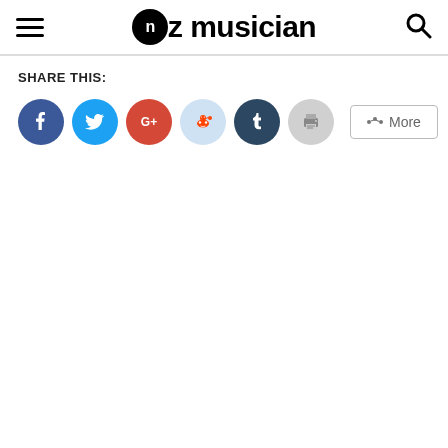NZ Musician
SHARE THIS:
[Figure (infographic): Social share buttons: Facebook, Twitter, Google+, Reddit, Tumblr, Print, and More]